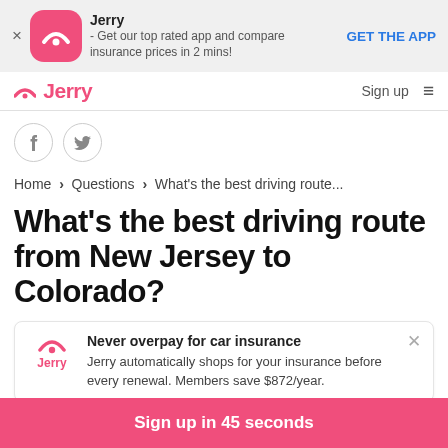[Figure (screenshot): App install banner with Jerry logo icon (pink rounded square), app name 'Jerry', description text, and 'GET THE APP' button. Close X on left.]
Jerry  Sign up  ≡
[Figure (other): Social sharing icons: Facebook and Twitter in gray circles]
Home › Questions › What's the best driving route...
What's the best driving route from New Jersey to Colorado?
Never overpay for car insurance
Jerry automatically shops for your insurance before every renewal. Members save $872/year.
Sign up in 45 seconds